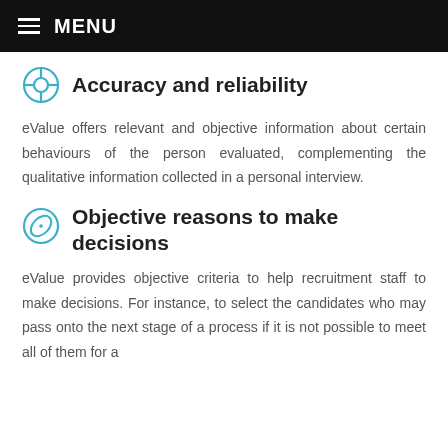MENU
Accuracy and reliability
eValue offers relevant and objective information about certain behaviours of the person evaluated, complementing the qualitative information collected in a personal interview.
Objective reasons to make decisions
eValue provides objective criteria to help recruitment staff to make decisions. For instance, to select the candidates who may pass onto the next stage of a process if it is not possible to meet all of them for a